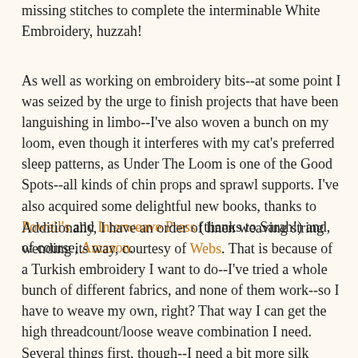missing stitches to complete the interminable White Embroidery, huzzah!
As well as working on embroidery bits--at some point I was seized by the urge to finish projects that have been languishing in limbo--I've also woven a bunch on my loom, even though it interferes with my cat's preferred sleep patterns, as Under The Loom is one of the Good Spots--all kinds of chin props and sprawl supports. I've also acquired some delightful new books, thanks to Powell's and Interweave Press (thanks to Sarah!) and, of course, Amazon.
Additionally, I have an order of linen weaving string wending its way, courtesy of Webs. That is because of a Turkish embroidery I want to do--I've tried a whole bunch of different fabrics, and none of them work--so I have to weave my own, right? That way I can get the high threadcount/loose weave combination I need. Several things first, though--I need a bit more silk (from Halcyon Yarn) to finish up the last bit of the